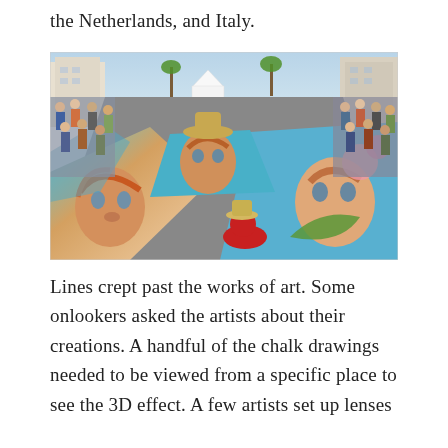the Netherlands, and Italy.
[Figure (photo): Aerial view of a chalk art festival on a city street. Crowds of spectators line both sides of the road. Large, colorful chalk drawings of faces and figures cover the pavement. An artist in a red shirt and straw hat sits and works on a chalk mural in the foreground.]
Lines crept past the works of art. Some onlookers asked the artists about their creations. A handful of the chalk drawings needed to be viewed from a specific place to see the 3D effect. A few artists set up lenses